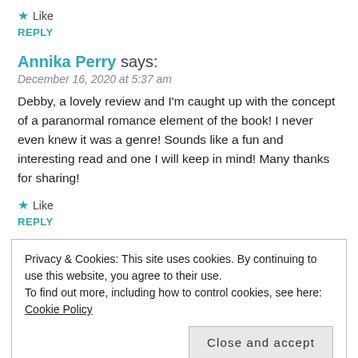★ Like
REPLY
Annika Perry says:
December 16, 2020 at 5:37 am
Debby, a lovely review and I'm caught up with the concept of a paranormal romance element of the book! I never even knew it was a genre! Sounds like a fun and interesting read and one I will keep in mind! Many thanks for sharing!
★ Like
REPLY
Privacy & Cookies: This site uses cookies. By continuing to use this website, you agree to their use.
To find out more, including how to control cookies, see here: Cookie Policy
Close and accept
REPLY